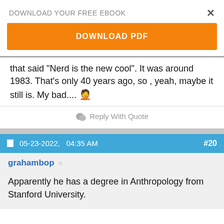DOWNLOAD YOUR FREE EBOOK
DOWNLOAD PDF
that said "Nerd is the new cool". It was around 1983. That's only 40 years ago, so , yeah, maybe it still is. My bad....🤦
Reply With Quote
05-23-2022,   04:35 AM  #20
grahambop ○
Apparently he has a degree in Anthropology from Stanford University.